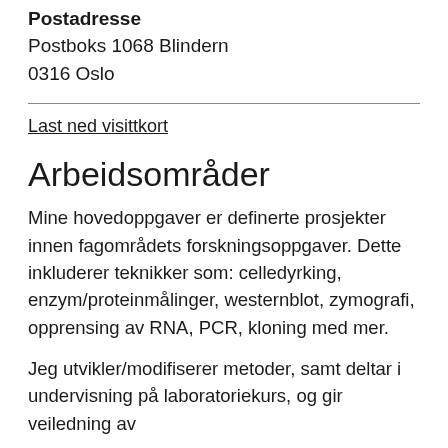Postadresse
Postboks 1068 Blindern
0316 Oslo
Last ned visittkort
Arbeidsområder
Mine hovedoppgaver er definerte prosjekter innen fagområdets forskningsoppgaver. Dette inkluderer teknikker som: celledyrking, enzym/proteinmålinger, westernblot, zymografi, opprensing av RNA, PCR, kloning med mer.
Jeg utvikler/modifiserer metoder, samt deltar i undervisning på laboratoriekurs, og gir veiledning av